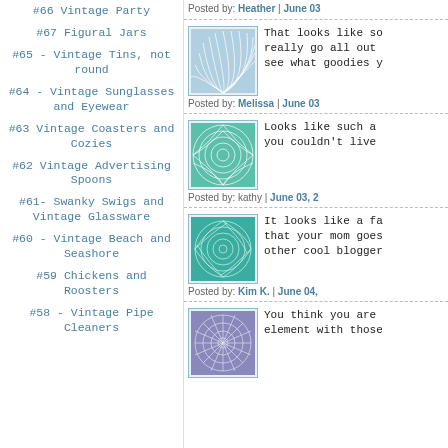#66 Vintage Party
#67 Figural Jars
#65 - Vintage Tins, not round
#64 - Vintage Sunglasses and Eyewear
#63 Vintage Coasters and Cozies
#62 Vintage Advertising Spoons
#61- Swanky Swigs and Vintage Glassware
#60 - Vintage Beach and Seashore
#59 Chickens and Roosters
#58 - Vintage Pipe Cleaners
Posted by: Heather | June 03
[Figure (photo): Thumbnail image with blue swirl/fan pattern]
That looks like so really go all out see what goodies y
Posted by: Melissa | June 03
[Figure (photo): Thumbnail image with teal/green geometric pattern]
Looks like such a you couldn't live
Posted by: kathy | June 03, 2
[Figure (photo): Thumbnail image with teal swirl geometric pattern]
It looks like a fa that your mom goes other cool blogger
Posted by: Kim K. | June 04,
[Figure (photo): Thumbnail image with purple/blue star/flower pattern]
You think you are element with those